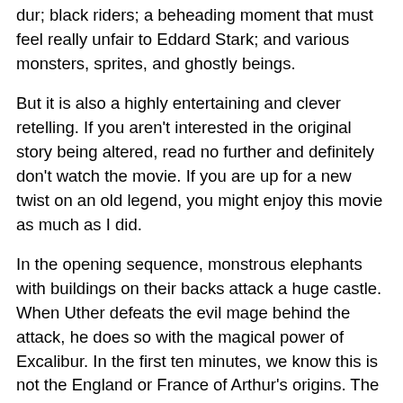dur; black riders; a beheading moment that must feel really unfair to Eddard Stark; and various monsters, sprites, and ghostly beings.
But it is also a highly entertaining and clever retelling. If you aren't interested in the original story being altered, read no further and definitely don't watch the movie. If you are up for a new twist on an old legend, you might enjoy this movie as much as I did.
In the opening sequence, monstrous elephants with buildings on their backs attack a huge castle. When Uther defeats the evil mage behind the attack, he does so with the magical power of Excalibur. In the first ten minutes, we know this is not the England or France of Arthur's origins. The language and some of the settings are there, but this is solidly in the realm of myth.
Ritchie is building a new world, one in which the line between mysterie and veritae (to use Simon R. Green's language) is definitely blurred. Battles often occur in both this world and another world simultaneously. Visions intertwin...